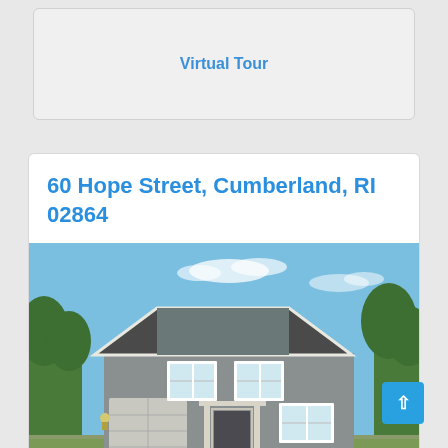Virtual Tour
60 Hope Street, Cumberland, RI 02864
[Figure (photo): Exterior rendering of a two-story colonial-style house with gray siding, dark roof, attached garage, and trees in background under blue sky]